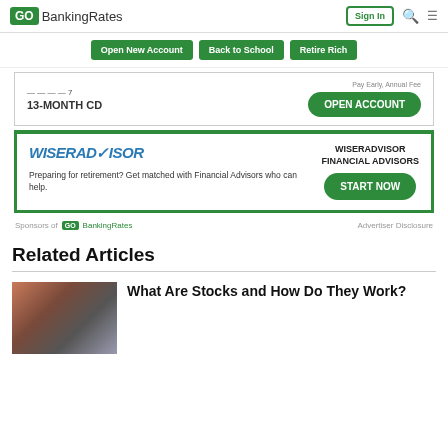GOBankingRates | Sign In
Open New Account | Back to School | Retire Rich
13-MONTH CD | OPEN ACCOUNT
[Figure (screenshot): WiserAdvisor advertisement with logo, text about preparing for retirement, and START NOW button]
Sponsors of GOBankingRates | Advertiser Disclosure
Related Articles
What Are Stocks and How Do They Work?